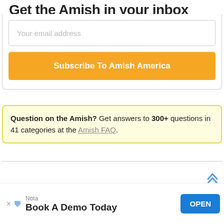Get the Amish in your inbox
Your email address
Subscribe To Amish America
Question on the Amish? Get answers to 300+ questions in 41 categories at the Amish FAQ.
[Figure (screenshot): Scroll up arrow icon]
[Figure (screenshot): Scroll down arrow icon]
Nota
Book A Demo Today
OPEN